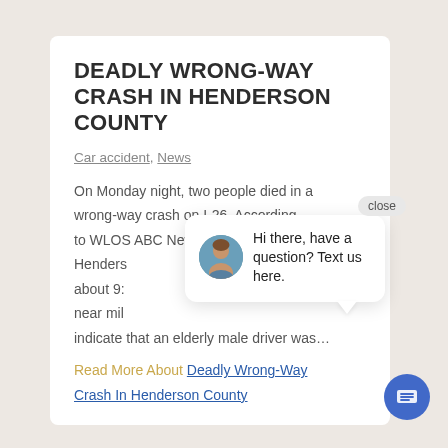DEADLY WRONG-WAY CRASH IN HENDERSON COUNTY
Car accident, News
On Monday night, two people died in a wrong-way crash on I-26. According to WLOS ABC News Channel 13, the Henderson [County Sheriff's Office reports indicate it happened] about 9:3[0] near mile [marker …] indicate that an elderly male driver was…
Read More About Deadly Wrong-Way Crash In Henderson County